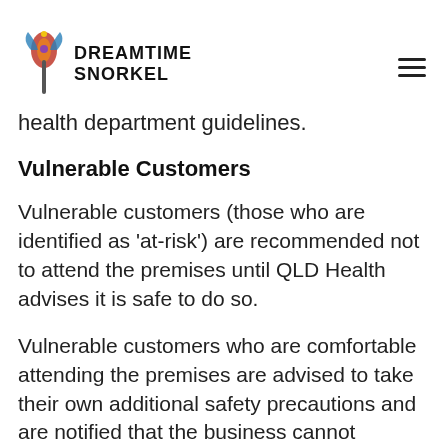Dreamtime Snorkel
health department guidelines.
Vulnerable Customers
Vulnerable customers (those who are identified as 'at-risk') are recommended not to attend the premises until QLD Health advises it is safe to do so.
Vulnerable customers who are comfortable attending the premises are advised to take their own additional safety precautions and are notified that the business cannot guarantee their safety.